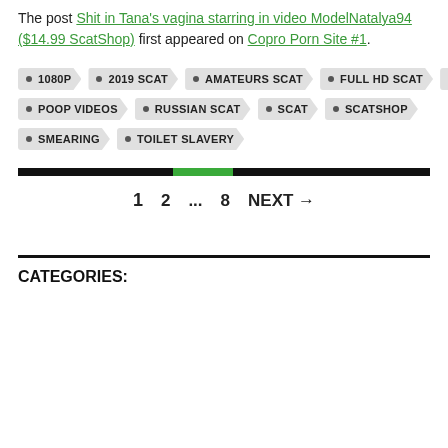The post Shit in Tana's vagina starring in video ModelNatalya94 ($14.99 ScatShop) first appeared on Copro Porn Site #1.
1080P
2019 SCAT
AMATEURS SCAT
FULL HD SCAT
PEE
POOP VIDEOS
RUSSIAN SCAT
SCAT
SCATSHOP
SMEARING
TOILET SLAVERY
1  2  ...  8  NEXT →
CATEGORIES: